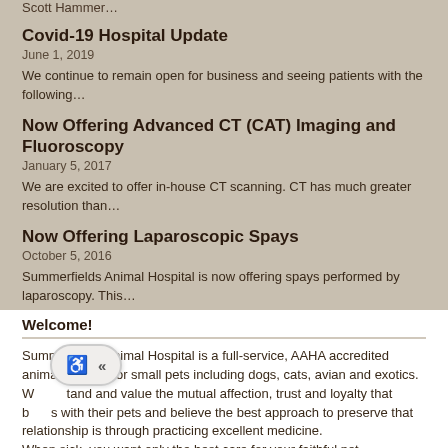Scott Hammer…
Covid-19 Hospital Update
June 1, 2019
We continue to remain open for business and seeing patients with the following…
Now Offering Advanced CT (CAT) Imaging and Fluoroscopy
January 5, 2017
We are excited to offer in-house CT scanning. CT has much greater resolution than…
Now Offering Laparoscopic Spays
October 5, 2016
Summerfields Animal Hospital is now offering spays performed by laparoscopy. This…
Welcome!
Summerfields Animal Hospital is a full-service, AAHA accredited animal hospital for small pets including dogs, cats, avian and exotics. We understand and value the mutual affection, trust and loyalty that bonds with their pets and believe the best approach to preserve that relationship is through practicing excellent medicine.
When sick, you want only the best care for your faithful pet